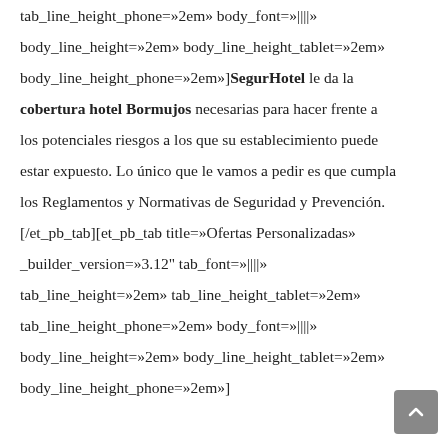tab_line_height_phone=»2em» body_font=»||||» body_line_height=»2em» body_line_height_tablet=»2em» body_line_height_phone=»2em»]SegurHotel le da la cobertura hotel Bormujos necesarias para hacer frente a los potenciales riesgos a los que su establecimiento puede estar expuesto. Lo único que le vamos a pedir es que cumpla los Reglamentos y Normativas de Seguridad y Prevención. [/et_pb_tab][et_pb_tab title=»Ofertas Personalizadas» _builder_version=»3.12" tab_font=»||||» tab_line_height=»2em» tab_line_height_tablet=»2em» tab_line_height_phone=»2em» body_font=»||||» body_line_height=»2em» body_line_height_tablet=»2em» body_line_height_phone=»2em»]